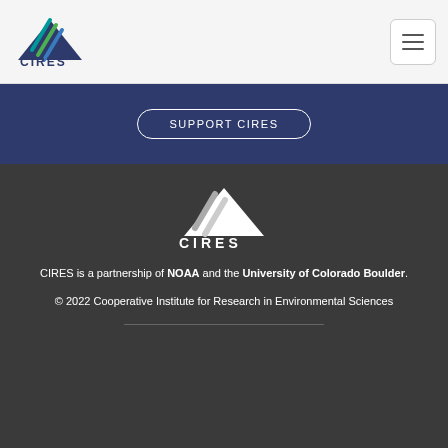[Figure (logo): CIRES logo in color (mountain graphic with diagonal lines in teal/green/blue, plus text CIRES below) in the top left navigation bar]
[Figure (other): Hamburger menu button (three horizontal lines) in top right of navigation bar]
SUPPORT CIRES
[Figure (logo): CIRES logo in white (mountain graphic with diagonal lines, plus text CIRES below) centered in dark footer]
CIRES is a partnership of NOAA and the University of Colorado Boulder.
© 2022 Cooperative Institute for Research in Environmental Sciences